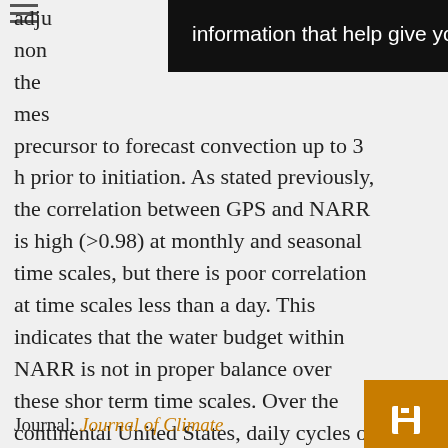precursor to forecast convection up to 3 h prior to initiation. As stated previously, the correlation between GPS and NARR is high (>0.98) at monthly and seasonal time scales, but there is poor correlation at time scales less than a day. This indicates that the water budget within NARR is not in proper balance over these short term time scales. Over the continental United States, daily cycles of PW and precipitation are coupled differently in different areas.
Journal: Journal of Climate